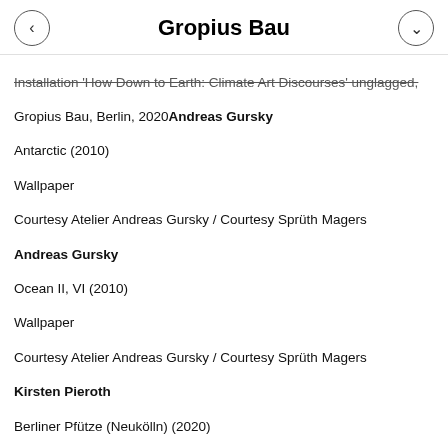Gropius Bau
Installation 'How Down to Earth: Climate Art Discourses' unglagged, Gropius Bau, Berlin, 2020Andreas Gursky
Antarctic (2010)
Wallpaper
Courtesy Atelier Andreas Gursky / Courtesy Sprüth Magers
Andreas Gursky
Ocean II, VI (2010)
Wallpaper
Courtesy Atelier Andreas Gursky / Courtesy Sprüth Magers
Kirsten Pieroth
Berliner Pfütze (Neukölln) (2020)
Courtesy the artist
© Berliner Festspiele/Immersion. Photo: Eike Walkenhorst
[Figure (photo): Aerial or wide-angle photograph of a dark rocky or earthy surface partially submerged in grey-blue water or ice, with geometric lines visible on the surface.]